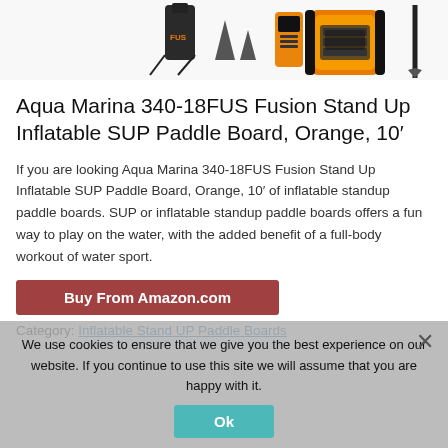[Figure (photo): Product image of Aqua Marina 340-18FUS Fusion Stand Up Inflatable SUP Paddle Board accessories including a bag, fins, orange paddle board, and paddle against a white background]
Aqua Marina 340-18FUS Fusion Stand Up Inflatable SUP Paddle Board, Orange, 10′
If you are looking Aqua Marina 340-18FUS Fusion Stand Up Inflatable SUP Paddle Board, Orange, 10′ of inflatable standup paddle boards. SUP or inflatable standup paddle boards offers a fun way to play on the water, with the added benefit of a full-body workout of water sport.
Buy From Amazon.com
Category: Inflatable Stand UP Paddle Boards
We use cookies to ensure that we give you the best experience on our website. If you continue to use this site we will assume that you are happy with it.
Ok